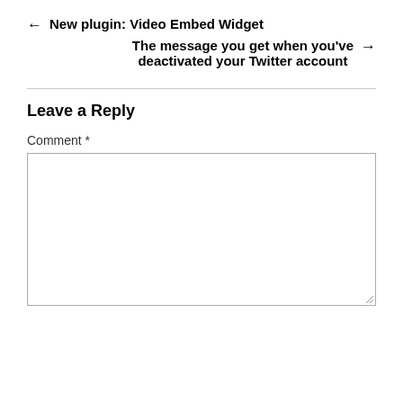← New plugin: Video Embed Widget
The message you get when you've deactivated your Twitter account →
Leave a Reply
Comment *